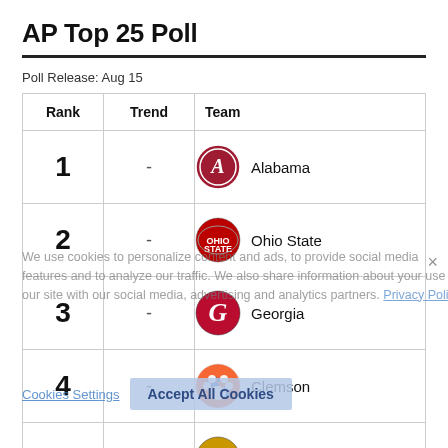AP Top 25 Poll
Poll Release: Aug 15
| Rank | Trend | Team |
| --- | --- | --- |
| 1 | - | Alabama |
| 2 | - | Ohio State |
| 3 | - | Georgia |
| 4 | - | Clemson |
| 5 | - | Notre Dame |